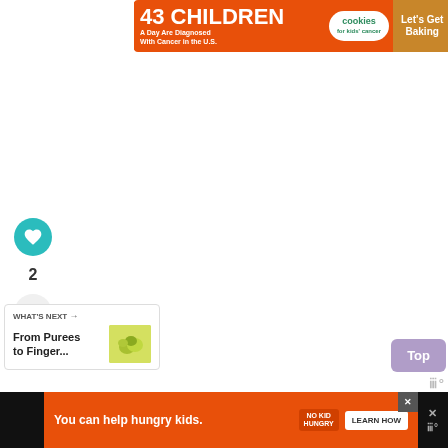[Figure (infographic): Ad banner: '43 CHILDREN A Day Are Diagnosed With Cancer in the U.S. | cookies for kids' cancer | Let's Get Baking']
[Figure (infographic): Social sidebar with heart/like button showing count 2 and share button]
WHAT'S NEXT →
From Purees to Finger...
Top
[Figure (infographic): Bottom ad banner: 'You can help hungry kids. NO KID HUNGRY LEARN HOW']